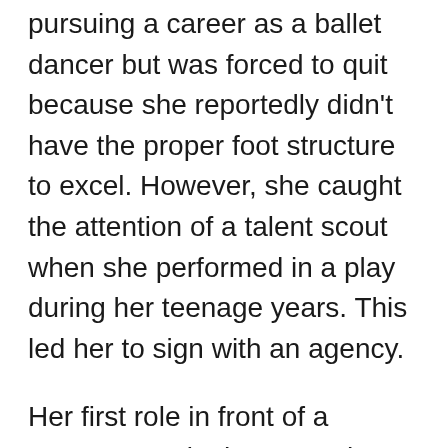pursuing a career as a ballet dancer but was forced to quit because she reportedly didn't have the proper foot structure to excel. However, she caught the attention of a talent scout when she performed in a play during her teenage years. This led her to sign with an agency.
Her first role in front of a camera was in the 1999 show Law & Order. She then won a part in the hit dance film Center Stage due to her degree of expertise in ballet, where she quickly rose to popularity. During the next few years, Saldana's career began to become more promising. She appeared in a series of